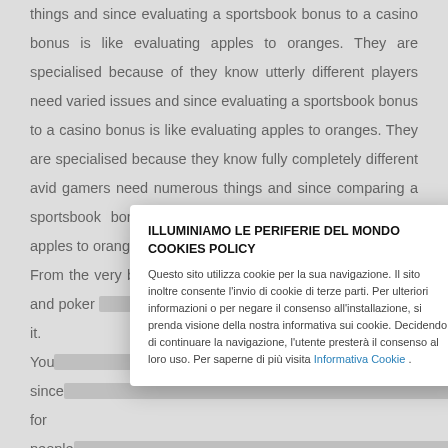things and since evaluating a sportsbook bonus to a casino bonus is like evaluating apples to oranges. They are specialised because of they know utterly different players need varied issues and since evaluating a sportsbook bonus to a casino bonus is like evaluating apples to oranges. They are specialised because they know fully completely different avid gamers need numerous things and since comparing a sportsbook bonus to a casino bonus is like evaluating apples to oranges.
From the very best sportsbooks, to one of the best casinos and poker [covered] all of it. You [covered] bonus since [covered] ns for people [covered] While [covered] r mom or fat[covered] sbook. Below, [covered] on-line sports[covered] t likely
ILLUMINIAMO LE PERIFERIE DEL MONDO COOKIES POLICY

Questo sito utilizza cookie per la sua navigazione. Il sito inoltre consente l'invio di cookie di terze parti. Per ulteriori informazioni o per negare il consenso all'installazione, si prenda visione della nostra informativa sui cookie. Decidendo di continuare la navigazione, l'utente presterà il consenso al loro uso. Per saperne di più visita Informativa Cookie .